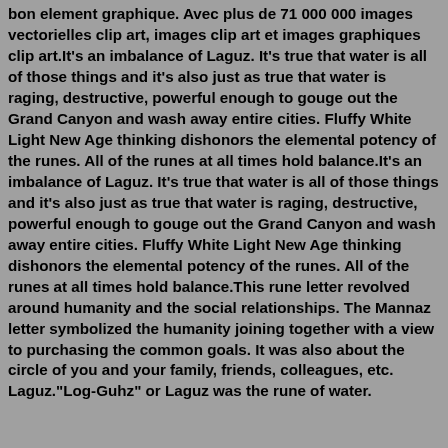bon element graphique. Avec plus de 71 000 000 images vectorielles clip art, images clip art et images graphiques clip art.It's an imbalance of Laguz. It's true that water is all of those things and it's also just as true that water is raging, destructive, powerful enough to gouge out the Grand Canyon and wash away entire cities. Fluffy White Light New Age thinking dishonors the elemental potency of the runes. All of the runes at all times hold balance.It's an imbalance of Laguz. It's true that water is all of those things and it's also just as true that water is raging, destructive, powerful enough to gouge out the Grand Canyon and wash away entire cities. Fluffy White Light New Age thinking dishonors the elemental potency of the runes. All of the runes at all times hold balance.This rune letter revolved around humanity and the social relationships. The Mannaz letter symbolized the humanity joining together with a view to purchasing the common goals. It was also about the circle of you and your family, friends, colleagues, etc. Laguz."Log-Guhz" or Laguz was the rune of water.